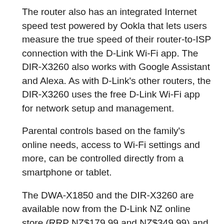The router also has an integrated Internet speed test powered by Ookla that lets users measure the true speed of their router-to-ISP connection with the D-Link Wi-Fi app. The DIR-X3260 also works with Google Assistant and Alexa. As with D-Link's other routers, the DIR-X3260 uses the free D-Link Wi-Fi app for network setup and management.
Parental controls based on the family's online needs, access to Wi-Fi settings and more, can be controlled directly from a smartphone or tablet.
The DWA-X1850 and the DIR-X3260 are available now from the D-Link NZ online store (RRP NZ$179.99 and NZ$349.99) and the AU online store (RRP AUD$149.95 and AUD$349.95) as well as from all authorised D-Link partners and retailers in both countries.
RELATED STORIES